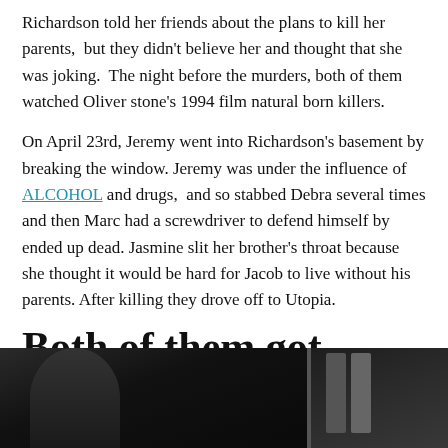Richardson told her friends about the plans to kill her parents, but they didn't believe her and thought that she was joking. The night before the murders, both of them watched Oliver stone's 1994 film natural born killers.
On April 23rd, Jeremy went into Richardson's basement by breaking the window. Jeremy was under the influence of ALCOHOL and drugs, and so stabbed Debra several times and then Marc had a screwdriver to defend himself by ended up dead. Jasmine slit her brother's throat because she thought it would be hard for Jacob to live without his parents. After killing they drove off to Utopia.
Both of them got caught
[Figure (photo): Dark photograph showing two people, partially visible, dark background]